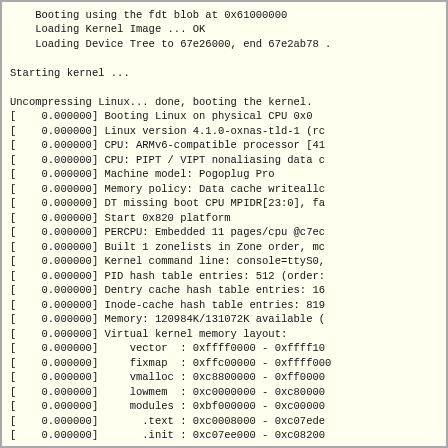Booting using the fdt blob at 0x61000000
    Loading Kernel Image ... OK
    Loading Device Tree to 67e26000, end 67e2ab78 .

Starting kernel ...

Uncompressing Linux... done, booting the kernel.
[    0.000000] Booting Linux on physical CPU 0x0
[    0.000000] Linux version 4.1.0-oxnas-tld-1 (rc
[    0.000000] CPU: ARMv6-compatible processor [41
[    0.000000] CPU: PIPT / VIPT nonaliasing data c
[    0.000000] Machine model: Pogoplug Pro
[    0.000000] Memory policy: Data cache writeallc
[    0.000000] DT missing boot CPU MPIDR[23:0], fa
[    0.000000] Start 0x820 platform
[    0.000000] PERCPU: Embedded 11 pages/cpu @c7ec
[    0.000000] Built 1 zonelists in Zone order, mc
[    0.000000] Kernel command line: console=ttyS0,
[    0.000000] PID hash table entries: 512 (order:
[    0.000000] Dentry cache hash table entries: 16
[    0.000000] Inode-cache hash table entries: 819
[    0.000000] Memory: 120984K/131072K available (
[    0.000000] Virtual kernel memory layout:
[    0.000000]     vector  : 0xffff0000 - 0xffff10
[    0.000000]     fixmap  : 0xffc00000 - 0xffff000
[    0.000000]     vmalloc : 0xc8800000 - 0xff0000
[    0.000000]     lowmem  : 0xc0000000 - 0xc80000
[    0.000000]     modules : 0xbf000000 - 0xc00000
[    0.000000]       .text : 0xc0008000 - 0xc07ede
[    0.000000]       .init : 0xc07ee000 - 0xc08200